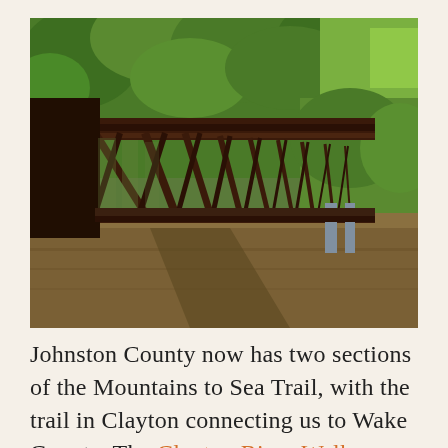[Figure (photo): A pedestrian/bike trail bridge made of dark brown steel lattice structure spanning over a muddy brown river, with lush green trees in the background on a sunny day. The bridge extends diagonally into the distance with the river below and its reflection visible.]
Johnston County now has two sections of the Mountains to Sea Trail, with the trail in Clayton connecting us to Wake County. The Clayton River Walk on the Neuse is a beautiful hike or bike ride along the banks of the Neuse River. In